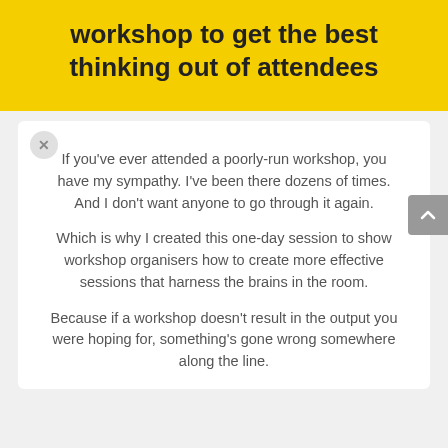workshop to get the best thinking out of attendees
If you've ever attended a poorly-run workshop, you have my sympathy. I've been there dozens of times. And I don't want anyone to go through it again.
Which is why I created this one-day session to show workshop organisers how to create more effective sessions that harness the brains in the room.
Because if a workshop doesn't result in the output you were hoping for, something's gone wrong somewhere along the line.